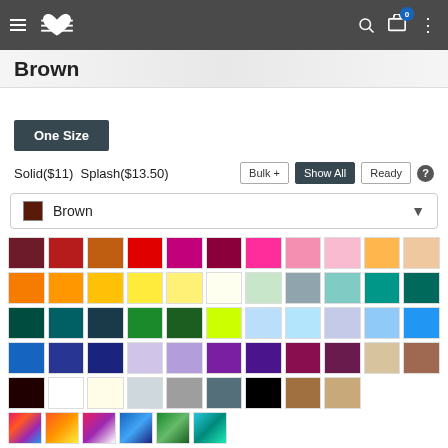Navigation bar with menu, logo, search, cart (0), and more options
Brown
One Size
Solid($11)  Splash($13.50)
[Figure (other): Color swatch grid showing a large variety of color options for product selection, including shades of red, pink, orange, yellow, green, teal, blue, purple, brown, black, white, gray, and multicolor options. Arranged in rows of 11 swatches each.]